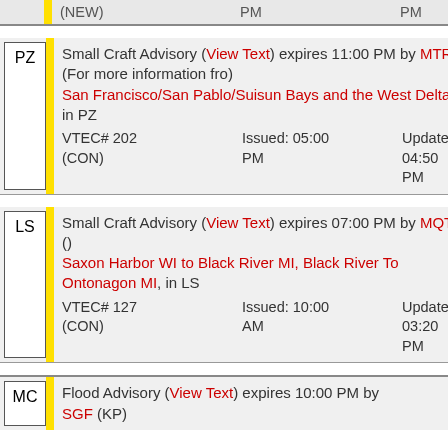(NEW) | PM | PM
PZ | Small Craft Advisory (View Text) expires 11:00 PM by MTR (For more information fro) San Francisco/San Pablo/Suisun Bays and the West Delta, in PZ | VTEC# 202 (CON) | Issued: 05:00 PM | Updated: 04:50 PM
LS | Small Craft Advisory (View Text) expires 07:00 PM by MQT () Saxon Harbor WI to Black River MI, Black River To Ontonagon MI, in LS | VTEC# 127 (CON) | Issued: 10:00 AM | Updated: 03:20 PM
MC | Flood Advisory (View Text) expires 10:00 PM by SGF (KP)